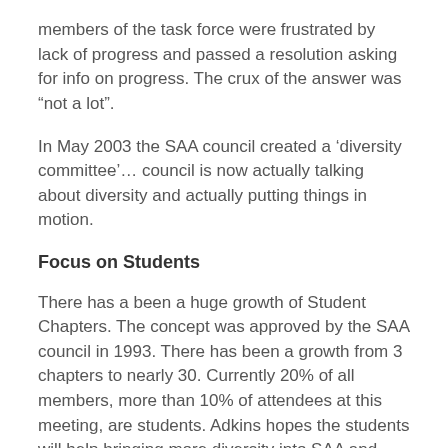members of the task force were frustrated by lack of progress and passed a resolution asking for info on progress. The crux of the answer was “not a lot”.
In May 2003 the SAA council created a ‘diversity committee’… council is now actually talking about diversity and actually putting things in motion.
Focus on Students
There has a been a huge growth of Student Chapters. The concept was approved by the SAA council in 1993. There has been a growth from 3 chapters to nearly 30. Currently 20% of all members, more than 10% of attendees at this meeting, are students. Adkins hopes the students will help bringing more diversity into SAA and asked for a round of applause for the students attending the meeting.